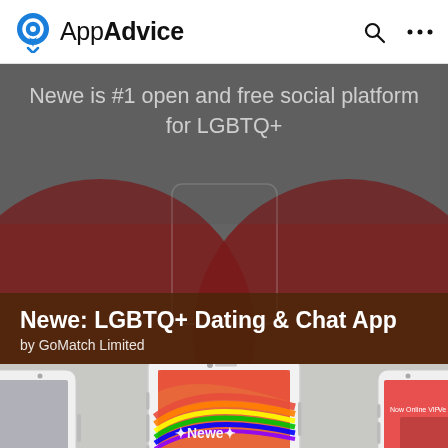AppAdvice
[Figure (screenshot): AppAdvice website header with logo (blue circle with location pin icon), AppAdvice brand name, search icon, and ellipsis menu icon]
Newe is #1 open and free social platform for LGBTQ+
Newe: LGBTQ+ Dating & Chat App
by GoMatch Limited
[Figure (screenshot): Three iPhone mockups showing the Newe app. Center phone shows app with rainbow brush stroke 'Newe' logo on coral/orange background with text 'A social community'. Right phone shows dating profile matching interface with red background.]